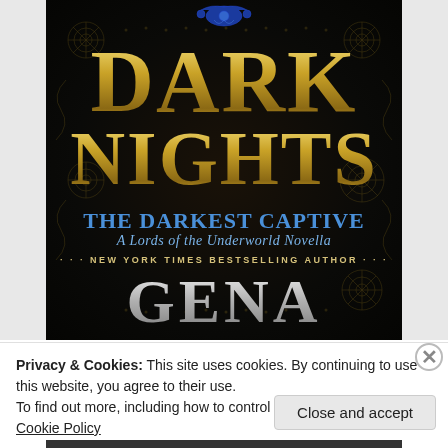[Figure (illustration): Book cover for 'Dark Nights: The Darkest Captive, A Lords of the Underworld Novella' by Gena Showalter (New York Times Bestselling Author). Black ornate background with gold decorative patterns. Title 'DARK NIGHTS' in large gold serif font. Subtitle 'THE DARKEST CAPTIVE' in blue text. Italic subtitle 'A Lords of the Underworld Novella'. Author attribution and name 'GENA' in silver/grey at bottom. Blue decorative ornament at top.]
Privacy & Cookies: This site uses cookies. By continuing to use this website, you agree to their use.
To find out more, including how to control cookies, see here: Cookie Policy
Close and accept